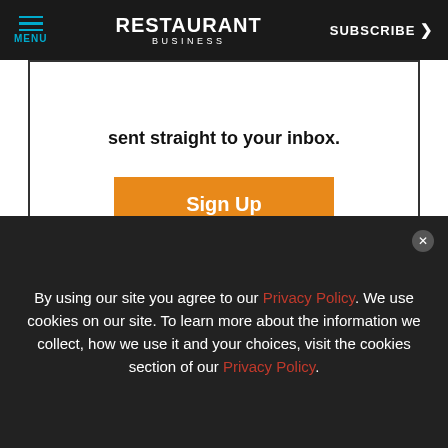MENU | RESTAURANT BUSINESS | SUBSCRIBE
sent straight to your inbox.
Sign Up
[Figure (logo): BOHA! logo with circular wave graphic]
[Figure (infographic): Advertisement overlay: OPTIMIZE YOUR BACK-OF-HOUSE OPERATIONS Learn More]
By using our site you agree to our Privacy Policy. We use cookies on our site. To learn more about the information we collect, how we use it and your choices, visit the cookies section of our Privacy Policy.